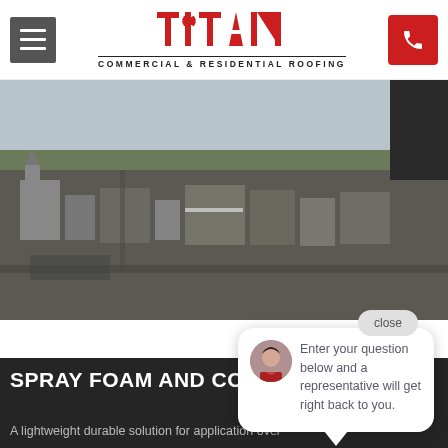[Figure (logo): Titan Commercial & Residential Roofing logo with hamburger menu and phone button]
[Figure (photo): Aerial drone photo of a small city or town with buildings and roads]
close
Enter your question below and a representative will get right back to you.
SPRAY FOAM AND COATINGS
A lightweight durable solution for application over